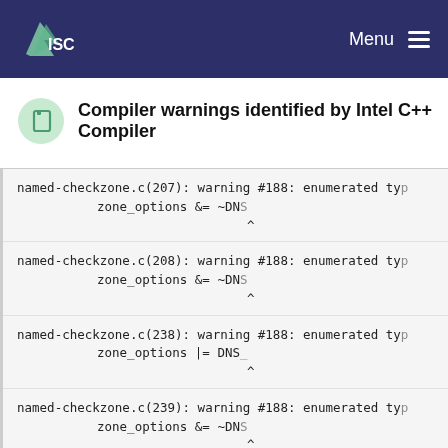ISC | Menu
Compiler warnings identified by Intel C++ Compiler
named-checkzone.c(207): warning #188: enumerated type zone_options &= ~DNS
^
named-checkzone.c(208): warning #188: enumerated type zone_options &= ~DNS
^
named-checkzone.c(238): warning #188: enumerated type zone_options |= DNS_
^
named-checkzone.c(239): warning #188: enumerated type zone_options &= ~DNS
^
named-checkzone.c(241): warning #188: enumerated ty